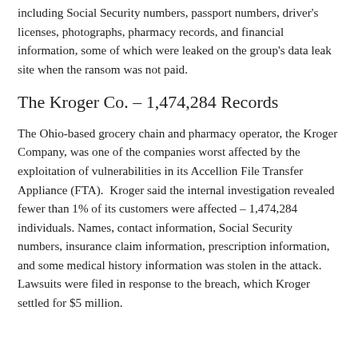including Social Security numbers, passport numbers, driver's licenses, photographs, pharmacy records, and financial information, some of which were leaked on the group's data leak site when the ransom was not paid.
The Kroger Co. – 1,474,284 Records
The Ohio-based grocery chain and pharmacy operator, the Kroger Company, was one of the companies worst affected by the exploitation of vulnerabilities in its Accellion File Transfer Appliance (FTA).  Kroger said the internal investigation revealed fewer than 1% of its customers were affected – 1,474,284 individuals. Names, contact information, Social Security numbers, insurance claim information, prescription information, and some medical history information was stolen in the attack. Lawsuits were filed in response to the breach, which Kroger settled for $5 million.